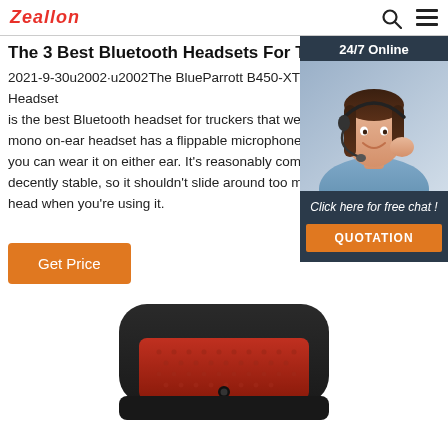Zeallon
The 3 Best Bluetooth Headsets For Truckers - Black Friday ...
2021-9-30u2002·u2002The BlueParrott B450-XT Bluetooth Headset is the best Bluetooth headset for truckers that we mono on-ear headset has a flippable microphone you can wear it on either ear. It's reasonably com decently stable, so it shouldn't slide around too m head when you're using it.
Get Price
[Figure (photo): Customer service representative woman wearing a headset, with 24/7 Online label and chat widget overlay with dark blue background, showing 'Click here for free chat!' text and QUOTATION button]
[Figure (photo): Close-up of a black and red Bluetooth headset device, bottom portion visible]